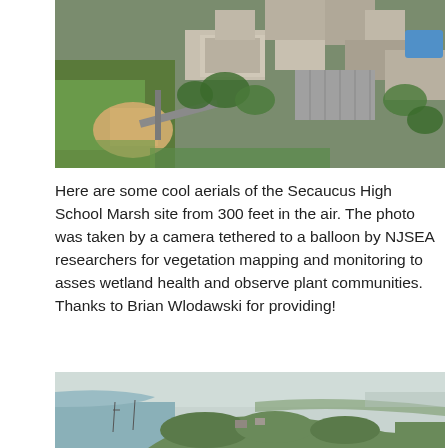[Figure (photo): Aerial photograph from 300 feet showing Secaucus High School Marsh site with athletic fields, buildings, parking lots, and surrounding vegetation viewed from above.]
Here are some cool aerials of the Secaucus High School Marsh site from 300 feet in the air. The photo was taken by a camera tethered to a balloon by NJSEA researchers for vegetation mapping and monitoring to asses wetland health and observe plant communities. Thanks to Brian Wlodawski for providing!
[Figure (photo): Aerial photograph showing a coastal marsh area with water, wetland vegetation, and surrounding landscape.]